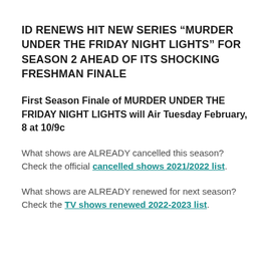ID RENEWS HIT NEW SERIES “MURDER UNDER THE FRIDAY NIGHT LIGHTS” FOR SEASON 2 AHEAD OF ITS SHOCKING FRESHMAN FINALE
First Season Finale of MURDER UNDER THE FRIDAY NIGHT LIGHTS will Air Tuesday February, 8 at 10/9c
What shows are ALREADY cancelled this season? Check the official cancelled shows 2021/2022 list.
What shows are ALREADY renewed for next season? Check the TV shows renewed 2022-2023 list.